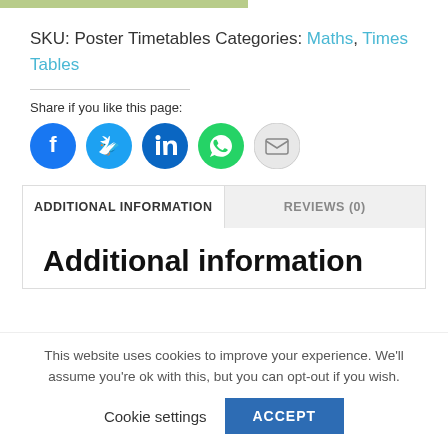[Figure (other): Green/olive colored progress bar strip at top of page]
SKU: Poster Timetables Categories: Maths, Times Tables
Share if you like this page:
[Figure (other): Social share buttons: Facebook, Twitter, LinkedIn, WhatsApp, Email]
ADDITIONAL INFORMATION | REVIEWS (0)
Additional information
This website uses cookies to improve your experience. We'll assume you're ok with this, but you can opt-out if you wish.
Cookie settings  ACCEPT